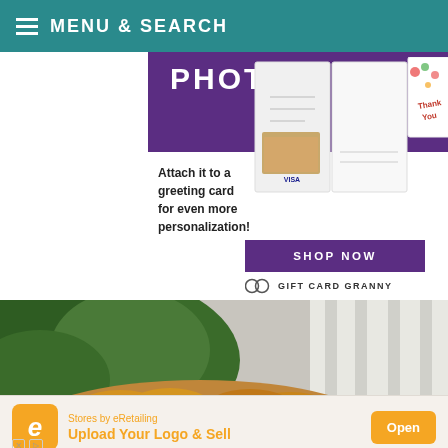MENU & SEARCH
[Figure (illustration): Gift Card Granny advertisement showing photo gift card attached to a greeting card. Purple banner with 'PHOTO' text, white open card with family photo, decorative thank-you card. Text: 'Attach it to a greeting card for even more personalization!' with 'SHOP NOW' button and GG Gift Card Granny logo.]
[Figure (photo): Close-up food photograph showing golden-orange seasoned chicken or food pieces garnished with herbs (parsley), with green herbs/parsley in background. Shallow depth of field, white striped cloth visible.]
[Figure (illustration): Stores by eRetailing advertisement banner. Orange 'e' logo icon, text 'Stores by eRetailing' and 'Upload Your Logo & Sell' in orange, with orange 'Open' button on right. X and play icons at bottom left.]